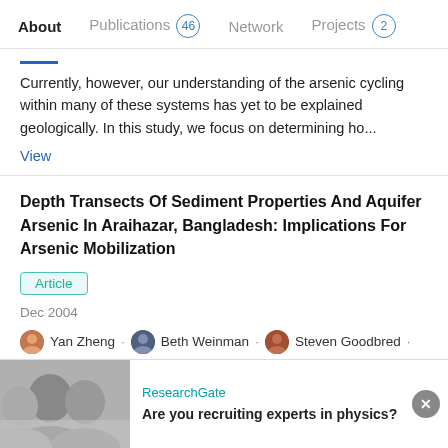About  Publications 46  Network  Projects 2
Currently, however, our understanding of the arsenic cycling within many of these systems has yet to be explained geologically. In this study, we focus on determining ho...
View
Depth Transects Of Sediment Properties And Aquifer Arsenic In Araihazar, Bangladesh: Implications For Arsenic Mobilization
Article
Dec 2004
Yan Zheng · Beth Weinman · Steven Goodbred · [...] · Zahid Aziz
Shallow aquifer groundwater arsenic heterogeneity is well documented in the floodplain of Bangladesh. The cause for this
ResearchGate
Are you recruiting experts in physics?